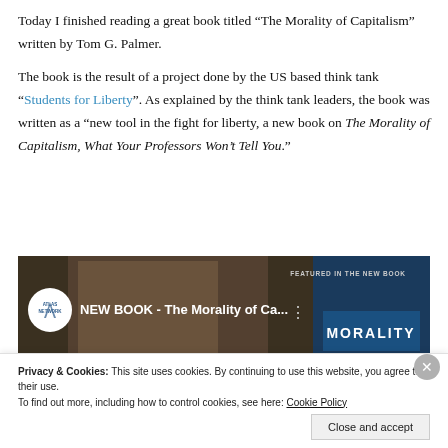Today I finished reading a great book titled “The Morality of Capitalism” written by Tom G. Palmer.
The book is the result of a project done by the US based think tank “Students for Liberty”. As explained by the think tank leaders, the book was written as a “new tool in the fight for liberty, a new book on The Morality of Capitalism, What Your Professors Won’t Tell You.”
[Figure (screenshot): YouTube video thumbnail for 'NEW BOOK - The Morality of Ca...' by Atlas Network, showing a person's face and a book cover with 'MORALITY' text. Top right shows 'FEATURED IN THE NEW BOOK'.]
Privacy & Cookies: This site uses cookies. By continuing to use this website, you agree to their use.
To find out more, including how to control cookies, see here: Cookie Policy